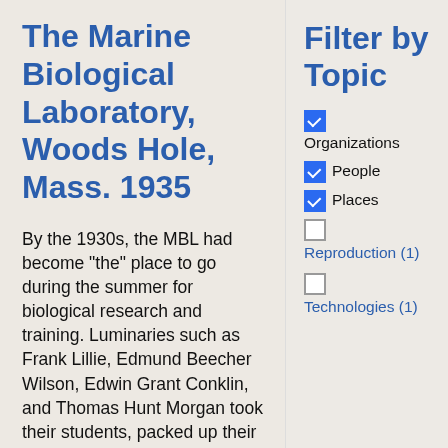The Marine Biological Laboratory, Woods Hole, Mass. 1935
By the 1930s, the MBL had become "the" place to go during the summer for biological research and training. Luminaries such as Frank Lillie, Edmund Beecher Wilson, Edwin Grant Conklin, and Thomas Hunt Morgan took their students, packed up their families and research labs, and headed to the MBL. They worked in labs,
Filter by Topic
Organizations (checked)
People (checked)
Places (checked)
Reproduction (1) (unchecked)
Technologies (1) (unchecked)